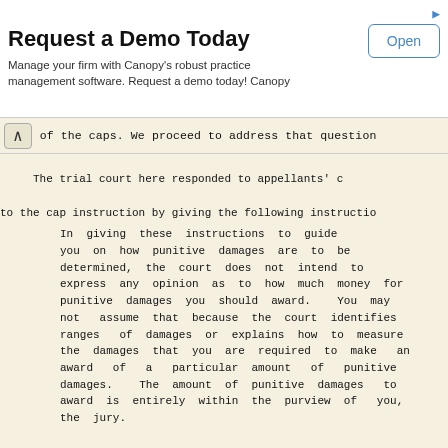[Figure (other): Advertisement banner for Canopy practice management software with 'Request a Demo Today' title, descriptive text, and 'Open' button.]
of the caps.  We proceed to address that question
The trial court here responded to appellants' c
to the cap instruction by giving the following instructio
In giving these instructions to guide you on how punitive damages are to be determined, the court does not intend to express any opinion as to how much money for punitive damages you should award. You may not assume that because the court identifies ranges of damages or explains how to measure the damages that you are required to make an award of a particular amount of punitive damages. The amount of punitive damages to award is entirely within the purview of you, the jury.
As Anderson correctly notes, we "presume that a jury fo
trial court's instructions."26 Anderson contends that b
trial court's instructions the jury concluded the